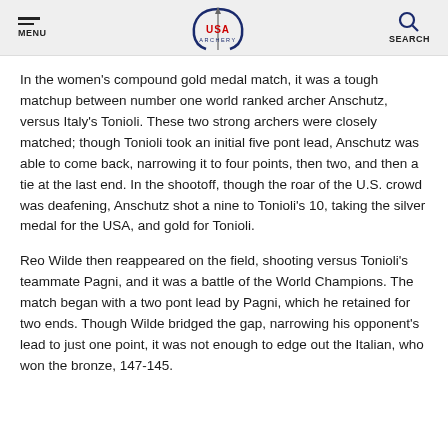MENU | USA Archery Logo | SEARCH
In the women's compound gold medal match, it was a tough matchup between number one world ranked archer Anschutz, versus Italy's Tonioli. These two strong archers were closely matched; though Tonioli took an initial five pont lead, Anschutz was able to come back, narrowing it to four points, then two, and then a tie at the last end. In the shootoff, though the roar of the U.S. crowd was deafening, Anschutz shot a nine to Tonioli's 10, taking the silver medal for the USA, and gold for Tonioli.
Reo Wilde then reappeared on the field, shooting versus Tonioli's teammate Pagni, and it was a battle of the World Champions. The match began with a two pont lead by Pagni, which he retained for two ends. Though Wilde bridged the gap, narrowing his opponent's lead to just one point, it was not enough to edge out the Italian, who won the bronze, 147-145.